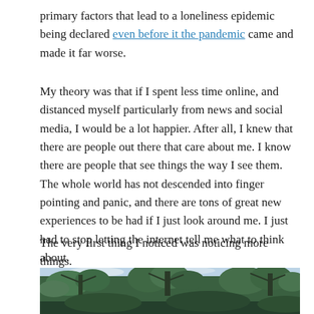primary factors that lead to a loneliness epidemic being declared even before it the pandemic came and made it far worse.
My theory was that if I spent less time online, and distanced myself particularly from news and social media, I would be a lot happier. After all, I knew that there are people out there that care about me. I know there are people that see things the way I see them. The whole world has not descended into finger pointing and panic, and there are tons of great new experiences to be had if I just look around me. I just had to stop letting the internet tell me what to think about.
The very first thing I noticed was noticing more things.
[Figure (photo): A photograph of trees (appears to be pine/conifer trees) with branches and foliage visible against a partly cloudy sky.]